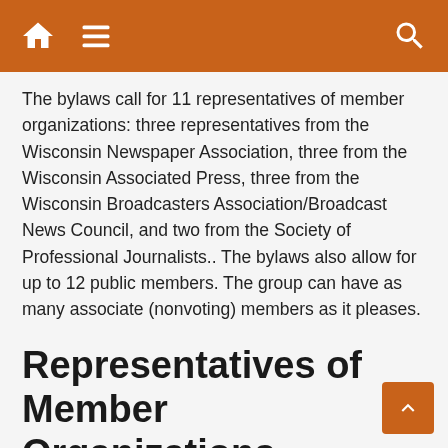Navigation bar with home icon, menu icon, and search icon
The bylaws call for 11 representatives of member organizations: three representatives from the Wisconsin Newspaper Association, three from the Wisconsin Associated Press, three from the Wisconsin Broadcasters Association/Broadcast News Council, and two from the Society of Professional Journalists.. The bylaws also allow for up to 12 public members. The group can have as many associate (nonvoting) members as it pleases.
Representatives of Member Organizations
Dave Zweifel
(Wisconsin Associated Press)
The Capital Times
1901 Fish Hatchery Road